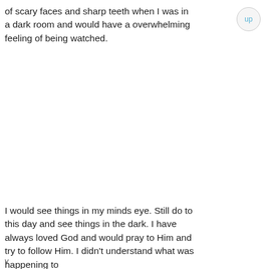of scary faces and sharp teeth when I was in a dark room and would have a overwhelming feeling of being watched.
I would see things in my minds eye. Still do to this day and see things in the dark. I have always loved God and would pray to Him and try to follow Him. I didn't understand what was happening to
v